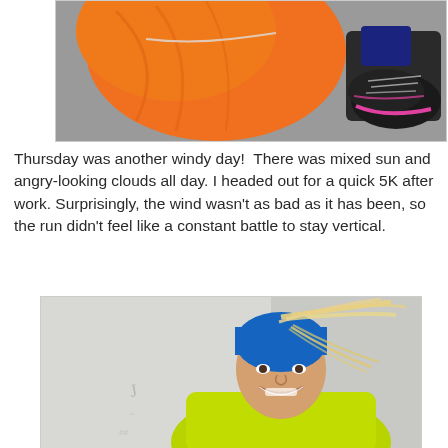[Figure (photo): Close-up photo from above of a runner's legs wearing bright orange shorts and black running shoes with pink accents, on a gray pavement surface.]
Thursday was another windy day!  There was mixed sun and angry-looking clouds all day. I headed out for a quick 5K after work. Surprisingly, the wind wasn't as bad as it has been, so the run didn't feel like a constant battle to stay vertical.
[Figure (photo): Selfie of a smiling woman wearing a blue headband/hat and a neon yellow/green running jacket, with windblown blonde hair streaking across her face.]